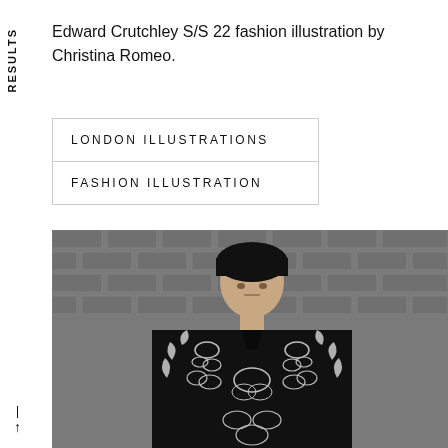RESULTS
Edward Crutchley S/S 22 fashion illustration by Christina Romeo.
LONDON ILLUSTRATIONS
FASHION ILLUSTRATION
[Figure (photo): A male model wearing a black jacket with white floral/botanical print pattern, standing in front of a brick wall background. Edward Crutchley S/S 22 fashion runway photo.]